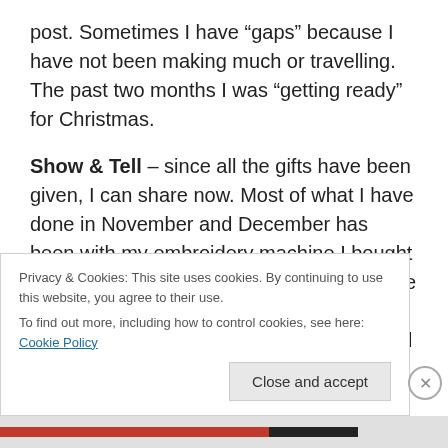post. Sometimes I have “gaps” because I have not been making much or travelling. The past two months I was “getting ready” for Christmas.

Show & Tell – since all the gifts have been given, I can share now. Most of what I have done in November and December has been with my embroidery machine I bought LAST January. I got it back from the service center in late October and have enjoyed learning to use it. It is a Janome 11000 and has an 8×8 hoop along with a bunch of others. There is a mega hoop, but I still need to learn
Privacy & Cookies: This site uses cookies. By continuing to use this website, you agree to their use.
To find out more, including how to control cookies, see here: Cookie Policy